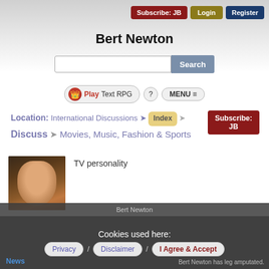Subscribe: JB | Login | Register
Bert Newton
[Figure (screenshot): Search input field with Search button and Subscribe: JB button]
[Figure (screenshot): Play Text RPG button with crown icon, ? help button, and MENU menu button]
Location: International Discussions ➤ Index ➤ Discuss ➤ Movies, Music, Fashion & Sports
[Figure (photo): Photo of Bert Newton, an older man smiling, wearing a pink shirt]
TV personality
Post Date: 10th May, 2021 - 1:15am / Post ID: #
Cookies used here: Privacy / Disclaimer / I Agree & Accept | News | Bert Newton has leg amputated.